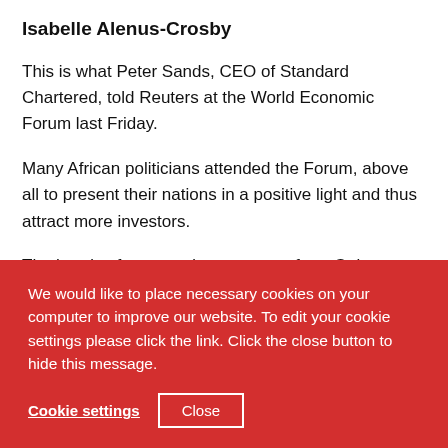Isabelle Alenus-Crosby
This is what Peter Sands, CEO of Standard Chartered, told Reuters at the World Economic Forum last Friday.
Many African politicians attended the Forum, above all to present their nations in a positive light and thus attract more investors.
The heads of state and government from Guinea, Ethiopia, Nigeria, Rwanda, Tanzania, Kenya and Mauritius all debated the future of their continent over dinner. The event was
We would like to place necessary cookies on your computer to improve our website. To edit your cookie settings please click the link. Click the close button to hide this message.
Cookie settings
Close